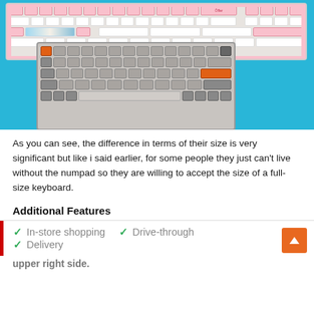[Figure (photo): Two keyboards photographed on a blue background. Top: pink and white full-size keyboard. Bottom: smaller tenkeyless keyboard in gray with orange accent keys.]
As you can see, the difference in terms of their size is very significant but like i said earlier, for some people they just can't live without the numpad so they are willing to accept the size of a full-size keyboard.
Additional Features
In-store shopping
Drive-through
Delivery
upper right side.